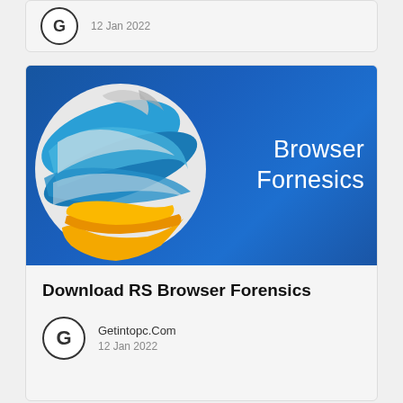[Figure (screenshot): Top card partial: avatar circle with G, date 12 Jan 2022]
[Figure (screenshot): Card with Browser Forensics banner image (globe logo on blue background with text 'Browser Fornesics'), title 'Download RS Browser Forensics', author Getintopc.Com, date 12 Jan 2022]
Download RS Browser Forensics
Getintopc.Com
12 Jan 2022
[Figure (photo): Partial third card showing tablet and white bottle on green background]